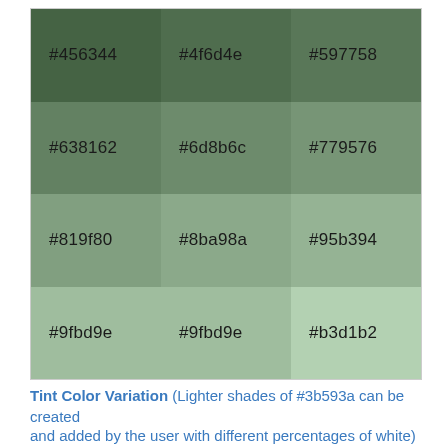[Figure (other): A 4-row by 3-column grid of green color swatches, each labeled with its hex color code. Row 1: #456344, #4f6d4e, #597758. Row 2: #638162, #6d8b6c, #779576. Row 3: #819f80, #8ba98a, #95b394. Row 4: #9fbd9e, #9fbd9e, #b3d1b2.]
Tint Color Variation (Lighter shades of #3b593a can be created and added by the user with different percentages of white)